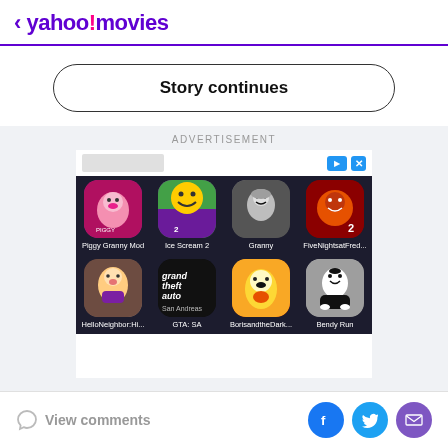< yahoo!movies
Story continues
ADVERTISEMENT
[Figure (screenshot): Advertisement banner showing 8 mobile game app icons in a 4x2 grid on dark background: Piggy Granny Mod, Ice Scream 2, Granny, FiveNightsatFred..., HelloNeighbor:Hi..., GTA: SA, BorisandtheDark..., Bendy Run]
View comments